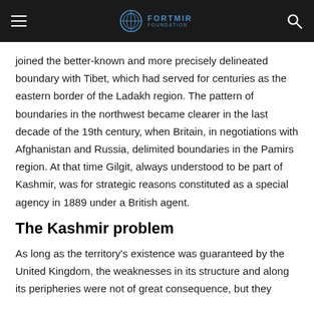FORTMIR [logo]
joined the better-known and more precisely delineated boundary with Tibet, which had served for centuries as the eastern border of the Ladakh region. The pattern of boundaries in the northwest became clearer in the last decade of the 19th century, when Britain, in negotiations with Afghanistan and Russia, delimited boundaries in the Pamirs region. At that time Gilgit, always understood to be part of Kashmir, was for strategic reasons constituted as a special agency in 1889 under a British agent.
The Kashmir problem
As long as the territory's existence was guaranteed by the United Kingdom, the weaknesses in its structure and along its peripheries were not of great consequence, but they became apparent after the British withdrawal from South Asia...